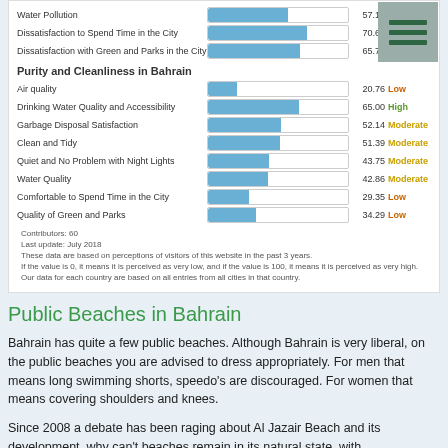[Figure (bar-chart): Purity and Cleanliness in Bahrain]
Contributors: 60
Last update: July 2018
These data are based on perceptions of visitors of this website in the past 3 years.
If the value is 0, it means it is perceived as very low, and if the value is 100, it means it is perceived as very high.
Our data for each country are based on all entries from all cities in that country.
Public Beaches in Bahrain
Bahrain has quite a few public beaches. Although Bahrain is very liberal, on the public beaches you are advised to dress appropriately. For men that means long swimming shorts, speedo's are discouraged. For women that means covering shoulders and knees.
Since 2008 a debate has been raging about Al Jazair Beach and its development, why can't beaches remain in its natural state, with